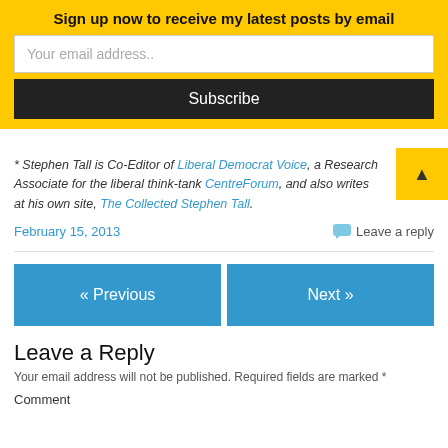Sign up now to receive my latest posts by email
Your email address..
Subscribe
* Stephen Tall is Co-Editor of Liberal Democrat Voice, a Research Associate for the liberal think-tank CentreForum, and also writes at his own site, The Collected Stephen Tall.
February 15, 2013
Leave a reply
« Previous
Next »
Leave a Reply
Your email address will not be published. Required fields are marked *
Comment